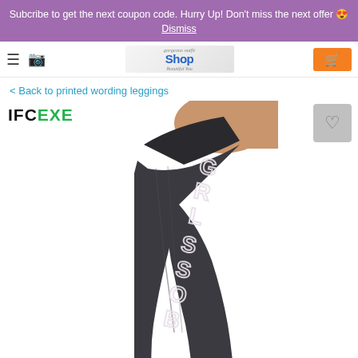Subcribe to get the next coupon code. Hurry Up! Don't miss the next offer 😍 Dismiss
[Figure (screenshot): Website navigation bar with hamburger menu, brand logo 'gorgeous outfit Shop Beautiful You', and orange cart button]
< Back to printed wording leggings
IFCEXE
[Figure (photo): Product photo of dark charcoal gray leggings with 'BOSS GIRL' text printed vertically along the leg, worn by a model showing side/rear view]
[Figure (other): Wishlist heart button (gray square with heart icon)]